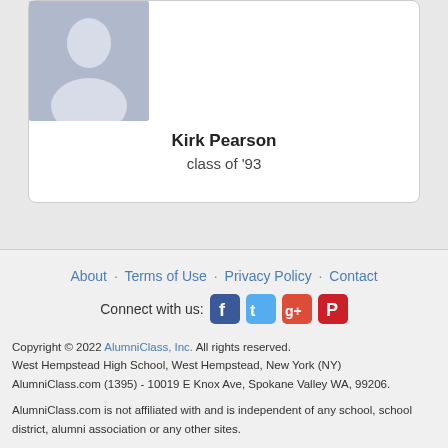[Figure (illustration): Generic silhouette avatar placeholder image with light blue-gray background]
Kirk Pearson
class of '93
About · Terms of Use · Privacy Policy · Contact
Connect with us: [Facebook] [Twitter] [Google+] [Pinterest]
Copyright © 2022 AlumniClass, Inc. All rights reserved.
West Hempstead High School, West Hempstead, New York (NY)
AlumniClass.com (1395) - 10019 E Knox Ave, Spokane Valley WA, 99206.
AlumniClass.com is not affiliated with and is independent of any school, school district, alumni association or any other sites.